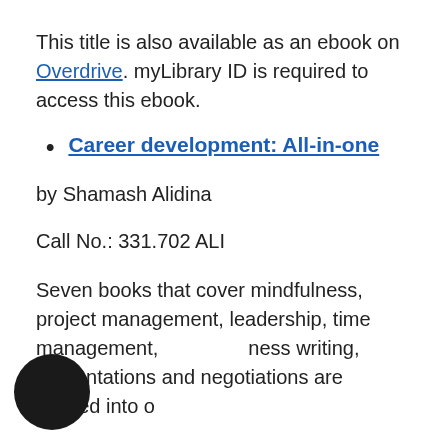This title is also available as an ebook on Overdrive. myLibrary ID is required to access this ebook.
Career development: All-in-one
by Shamash Alidina
Call No.: 331.702 ALI
Seven books that cover mindfulness, project management, leadership, time management, business writing, presentations and negotiations are packed into one...